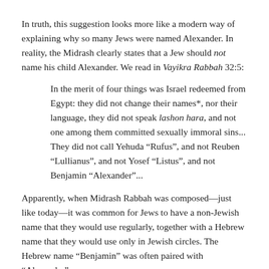In truth, this suggestion looks more like a modern way of explaining why so many Jews were named Alexander. In reality, the Midrash clearly states that a Jew should not name his child Alexander. We read in Vayikra Rabbah 32:5:
In the merit of four things was Israel redeemed from Egypt: they did not change their names*, nor their language, they did not speak lashon hara, and not one among them committed sexually immoral sins... They did not call Yehuda “Rufus”, and not Reuben “Lullianus”, and not Yosef “Listus”, and not Benjamin “Alexander”...
Apparently, when Midrash Rabbah was composed—just like today—it was common for Jews to have a non-Jewish name that they would use regularly, together with a Hebrew name that they would use only in Jewish circles. The Hebrew name “Benjamin” was often paired with “Alexander”.